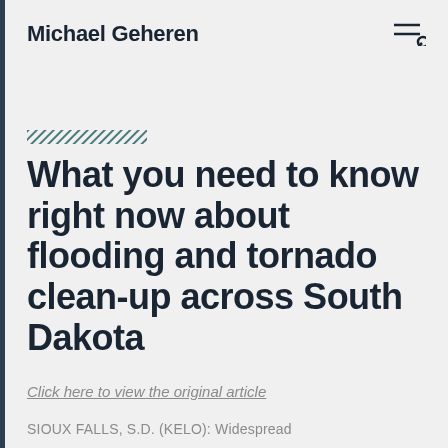Michael Geheren
[Figure (other): Decorative hatched bar pattern in teal/dark teal color]
What you need to know right now about flooding and tornado clean-up across South Dakota
Click here to view the original article
SIOUX FALLS, S.D. (KELO): Widespread